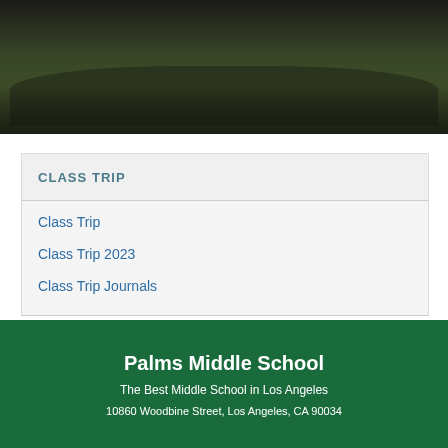[Figure (photo): Group photo of students posing outdoors on a grassy field, appears to be a class trip photo]
CLASS TRIP
Class Trip
Class Trip 2023
Class Trip Journals
Palms Middle School
The Best Middle School in Los Angeles
10860 Woodbine Street, Los Angeles, CA 90034